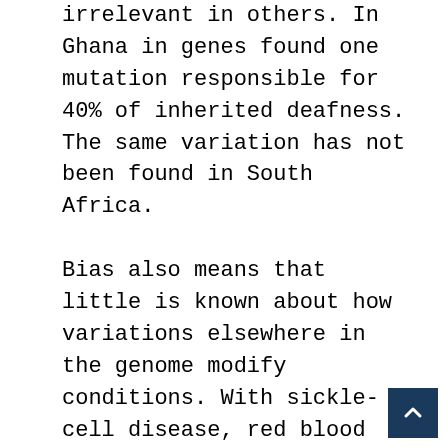irrelevant in others. In Ghana in genes found one mutation responsible for 40% of inherited deafness. The same variation has not been found in South Africa.

Bias also means that little is known about how variations elsewhere in the genome modify conditions. With sickle-cell disease, red blood cells look like bananas rather than, as is normal, round cushions. About 75% of the 300,000 babies born every year with sickle-cell disease are African. The high share reflects a bittersweet twist in the evolutionary tale; sickle-cell genes can confer a degree of protection against malaria. Other mutations are known to